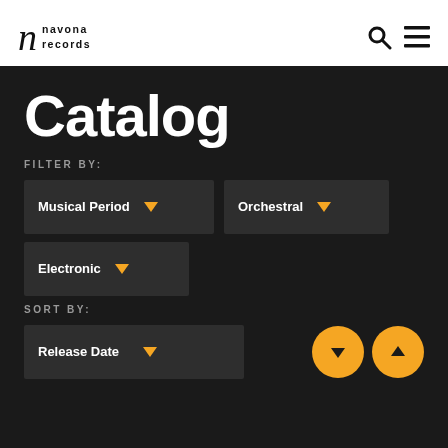[Figure (logo): Navona Records logo with stylized italic 'n' and stacked text 'navona records']
[Figure (screenshot): Search icon (magnifying glass) and hamburger menu icon in header]
Catalog
FILTER BY:
Musical Period
Orchestral
Electronic
SORT BY:
Release Date